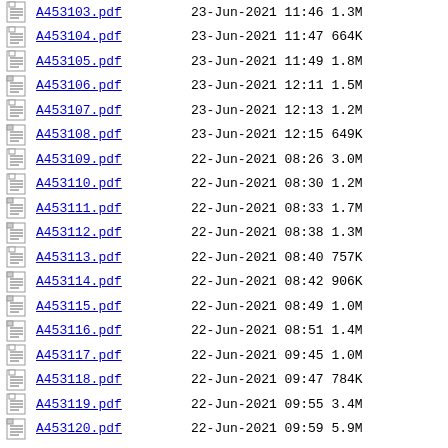A453103.pdf  23-Jun-2021 11:46  1.3M
A453104.pdf  23-Jun-2021 11:47  664K
A453105.pdf  23-Jun-2021 11:49  1.8M
A453106.pdf  23-Jun-2021 12:11  1.5M
A453107.pdf  23-Jun-2021 12:13  1.2M
A453108.pdf  23-Jun-2021 12:15  649K
A453109.pdf  22-Jun-2021 08:26  3.0M
A453110.pdf  22-Jun-2021 08:30  1.2M
A453111.pdf  22-Jun-2021 08:33  1.7M
A453112.pdf  22-Jun-2021 08:38  1.3M
A453113.pdf  22-Jun-2021 08:40  757K
A453114.pdf  22-Jun-2021 08:42  906K
A453115.pdf  22-Jun-2021 08:49  1.0M
A453116.pdf  22-Jun-2021 08:51  1.4M
A453117.pdf  22-Jun-2021 09:45  1.0M
A453118.pdf  22-Jun-2021 09:47  784K
A453119.pdf  22-Jun-2021 09:55  3.4M
A453120.pdf  22-Jun-2021 09:59  5.9M